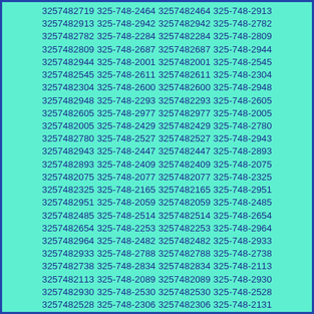3257482719 325-748-2464 3257482464 325-748-2913 3257482913 325-748-2942 3257482942 325-748-2782 3257482782 325-748-2284 3257482284 325-748-2809 3257482809 325-748-2687 3257482687 325-748-2944 3257482944 325-748-2001 3257482001 325-748-2545 3257482545 325-748-2611 3257482611 325-748-2304 3257482304 325-748-2600 3257482600 325-748-2948 3257482948 325-748-2293 3257482293 325-748-2605 3257482605 325-748-2977 3257482977 325-748-2005 3257482005 325-748-2429 3257482429 325-748-2780 3257482780 325-748-2527 3257482527 325-748-2943 3257482943 325-748-2447 3257482447 325-748-2893 3257482893 325-748-2409 3257482409 325-748-2075 3257482075 325-748-2077 3257482077 325-748-2325 3257482325 325-748-2165 3257482165 325-748-2951 3257482951 325-748-2059 3257482059 325-748-2485 3257482485 325-748-2514 3257482514 325-748-2654 3257482654 325-748-2253 3257482253 325-748-2964 3257482964 325-748-2482 3257482482 325-748-2933 3257482933 325-748-2788 3257482788 325-748-2738 3257482738 325-748-2834 3257482834 325-748-2113 3257482113 325-748-2089 3257482089 325-748-2930 3257482930 325-748-2530 3257482530 325-748-2528 3257482528 325-748-2306 3257482306 325-748-2131 3257482131 325-748-2976 3257482976 325-748-2066 3257482066 325-748-2378 3257482378 325-748-2812